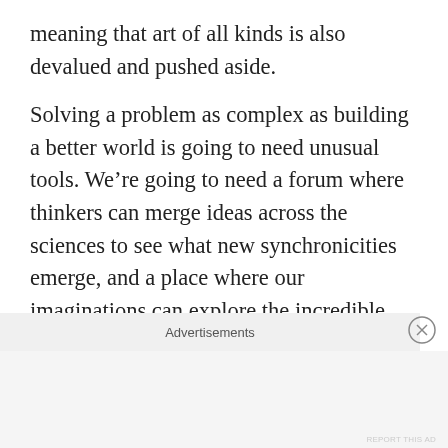meaning that art of all kinds is also devalued and pushed aside.
Solving a problem as complex as building a better world is going to need unusual tools. We’re going to need a forum where thinkers can merge ideas across the sciences to see what new synchronicities emerge, and a place where our imaginations can explore the incredible possibilities that knowledge opens for us. And because at the heart of our problem are seven billion emotional, erratic and unreasonable human beings, we’re to need tools that look deep inside the human experience. Tools that
Advertisements